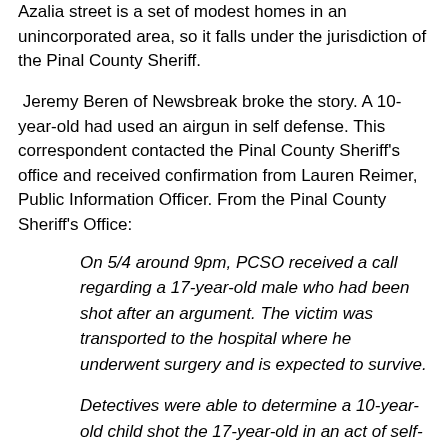Azalia street is a set of modest homes in an unincorporated area, so it falls under the jurisdiction of the Pinal County Sheriff.
Jeremy Beren of Newsbreak broke the story. A 10-year-old had used an airgun in self defense. This correspondent contacted the Pinal County Sheriff's office and received confirmation from Lauren Reimer, Public Information Officer. From the Pinal County Sheriff's Office:
On 5/4 around 9pm, PCSO received a call regarding a 17-year-old male who had been shot after an argument. The victim was transported to the hospital where he underwent surgery and is expected to survive.
Detectives were able to determine a 10-year-old child shot the 17-year-old in an act of self-defense using a high velocity pellet gun. Potential charges for the 17 year old are under review.
Children using firearms for self-defense make the news now and then. This is the first time this correspondent has read of